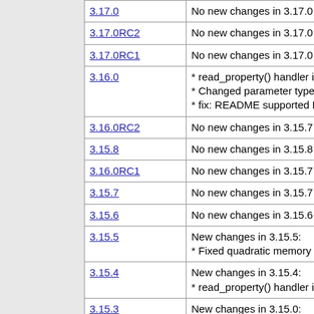| Version | Changes |
| --- | --- |
| 3.17.0 | No new changes in 3.17.0 |
| 3.17.0RC2 | No new changes in 3.17.0 |
| 3.17.0RC1 | No new changes in 3.17.0 |
| 3.16.0 | * read_property() handler is not sup return NULL (#8362)
* Changed parameter type from lon integer (#7613)
* fix: README supported PHP vers extension (#8236) |
| 3.16.0RC2 | No new changes in 3.15.7 |
| 3.15.8 | No new changes in 3.15.8 |
| 3.16.0RC1 | No new changes in 3.15.7 |
| 3.15.7 | No new changes in 3.15.7 |
| 3.15.6 | No new changes in 3.15.6 |
| 3.15.5 | New changes in 3.15.5:
* Fixed quadratic memory use in ar append (#8379) |
| 3.15.4 | New changes in 3.15.4:
* read_property() handler is not sup return NULL (#8362) |
| 3.15.3 | New changes in 3.15.0:
* unregister INI entries and fix invali on shutdown (#8042)
* Fix PhpDoc comments for messag accessors to include "lnull" (#8136 |